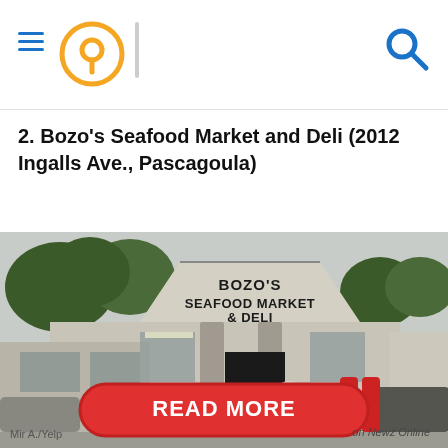Navigation header with hamburger menu, location pin, vertical divider, and search icon
2. Bozo's Seafood Market and Deli (2012 Ingalls Ave., Pascagoula)
[Figure (photo): Exterior photo of Bozo's Seafood Market and Deli building, a low single-story structure with a peaked gable roof bearing the sign 'BOZO'S SEAFOOD MARKET & DELI', brick columns, and parking lot. A red 'READ MORE' button overlay appears at the bottom. Photo credit: Mir A./Yelp]
Mir A./Yelp